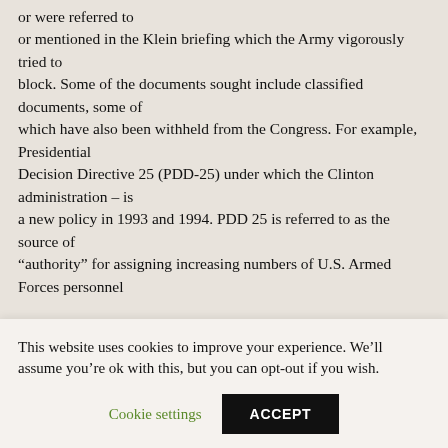or were referred to or mentioned in the Klein briefing which the Army vigorously tried to block. Some of the documents sought include classified documents, some of which have also been withheld from the Congress. For example, Presidential Decision Directive 25 (PDD-25) under which the Clinton administration – is a new policy in 1993 and 1994. PDD 25 is referred to as the source of "authority" for assigning increasing numbers of U.S. Armed Forces personnel
This website uses cookies to improve your experience. We'll assume you're ok with this, but you can opt-out if you wish.